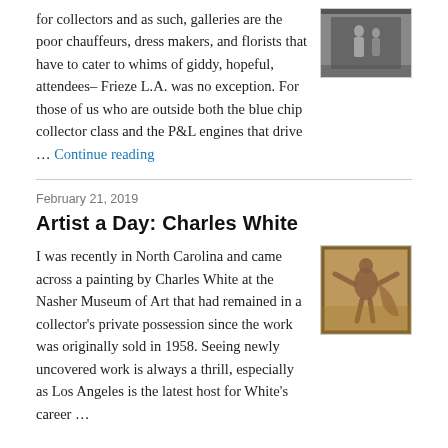for collectors and as such, galleries are the poor chauffeurs, dress makers, and florists that have to cater to whims of giddy, hopeful, attendees– Frieze L.A. was no exception. For those of us who are outside both the blue chip collector class and the P&L engines that drive … Continue reading
[Figure (photo): Black and white photograph of two figures in a gallery or outdoor setting]
February 21, 2019
Artist a Day: Charles White
[Figure (photo): Painting by Charles White showing a figure with outstretched arms on a warm golden-brown background, displayed in a museum frame]
I was recently in North Carolina and came across a painting by Charles White at the Nasher Museum of Art that had remained in a collector's private possession since the work was originally sold in 1958. Seeing newly uncovered work is always a thrill, especially as Los Angeles is the latest host for White's career …